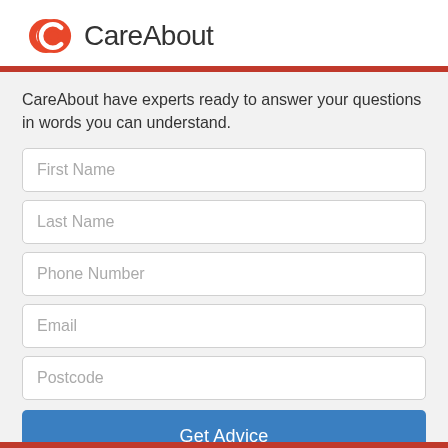[Figure (logo): CareAbout logo with orange/red circular C icon and 'CareAbout' text in grey]
CareAbout have experts ready to answer your questions in words you can understand.
First Name
Last Name
Phone Number
Email
Postcode
Get Advice